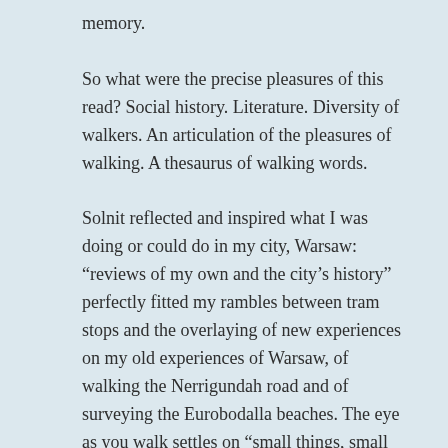memory.
So what were the precise pleasures of this read? Social history. Literature. Diversity of walkers. An articulation of the pleasures of walking. A thesaurus of walking words.
Solnit reflected and inspired what I was doing or could do in my city, Warsaw: “reviews of my own and the city’s history” perfectly fitted my rambles between tram stops and the overlaying of new experiences on my old experiences of Warsaw, of walking the Nerrigundah road and of surveying the Eurobodalla beaches. The eye as you walk settles on “small things, small epiphanies”: and you “celebrate the incidental and the inconsequential”. As Warsaw becomes increasingly familiar, my eye is free to do just that: to notice graffiti, and advertisements, and